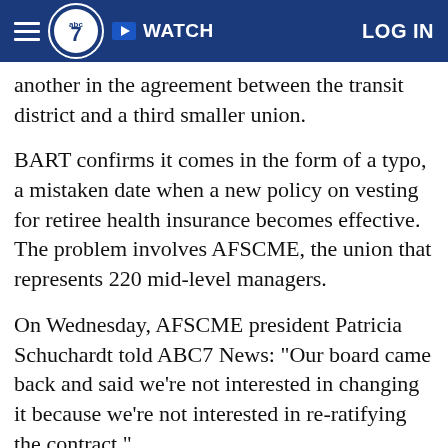abc7 WATCH LOG IN
another in the agreement between the transit district and a third smaller union.
BART confirms it comes in the form of a typo, a mistaken date when a new policy on vesting for retiree health insurance becomes effective. The problem involves AFSCME, the union that represents 220 mid-level managers.
On Wednesday, AFSCME president Patricia Schuchardt told ABC7 News: "Our board came back and said we're not interested in changing it because we're not interested in re-ratifying the contract."
"It was surprising to us that we have that issue or AFSCME has that issue. It caught us by surprise. Hopefully we can get that resolved, AFSCME can get that resolved," said Des